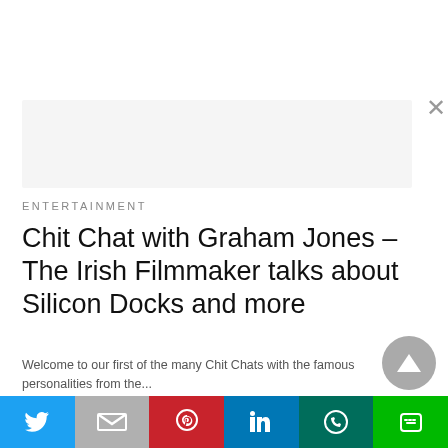[Figure (other): Ad placeholder box with close button (×)]
ENTERTAINMENT
Chit Chat with Graham Jones – The Irish Filmmaker talks about Silicon Docks and more
Welcome to our first of the many Chit Chats with the famous personalities from the...
4 days ago
[Figure (other): Scroll-to-top circular button with upward arrow]
[Figure (other): Social share bar with Twitter, Gmail, Pinterest, LinkedIn, WhatsApp, and LINE buttons]